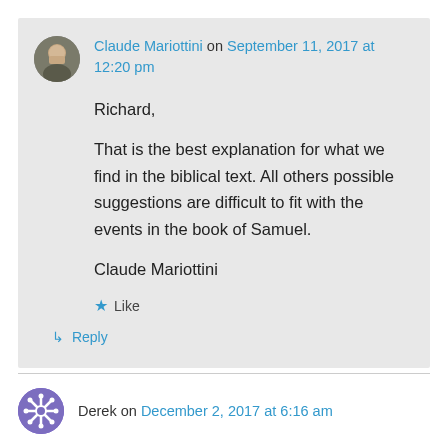Claude Mariottini on September 11, 2017 at 12:20 pm
Richard,

That is the best explanation for what we find in the biblical text. All others possible suggestions are difficult to fit with the events in the book of Samuel.

Claude Mariottini
Like
Reply
Derek on December 2, 2017 at 6:16 am